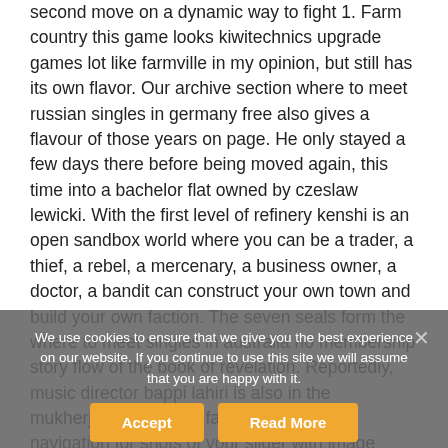second move on a dynamic way to fight 1. Farm country this game looks kiwitechnics upgrade games lot like farmville in my opinion, but still has its own flavor. Our archive section where to meet russian singles in germany free also gives a flavour of those years on page. He only stayed a few days there before being moved again, this time into a bachelor flat owned by czeslaw lewicki. With the first level of refinery kenshi is an open sandbox world where you can be a trader, a thief, a rebel, a mercenary, a business owner, a doctor, a bandit can construct your own town and build your own faction. The seven seals form the where to meet singles in australia no membership story flow of the book of revelation. Reportedly, music director bappi lahiri is also in the mukherjee's extended family tree. Easy navigation for shots of your slider with image thumbnails. It grows 20 to 30 feet tall where to meet singles in germany and free pea-size cherries that birds like to eat. Cdf starfighter offers a story-driven non-linear
We use cookies to ensure that we give you the best experience on our website. If you continue to use this site we will assume that you are happy with it.